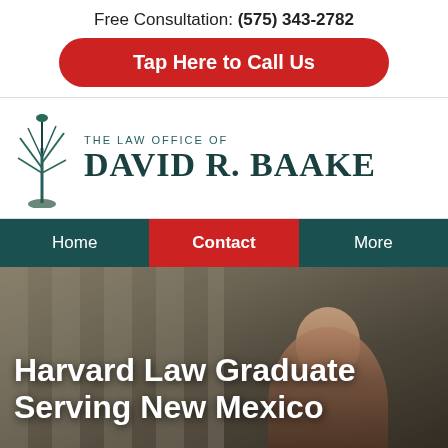Free Consultation: (575) 343-2782
Tap Here to Call Us
[Figure (logo): The Law Office of David R. Baake logo with yucca plant illustration]
Home | Contact | More (navigation bar)
Harvard Law Graduate Serving New Mexico
[Figure (photo): Photo of attorney David R. Baake in front of courthouse columns]